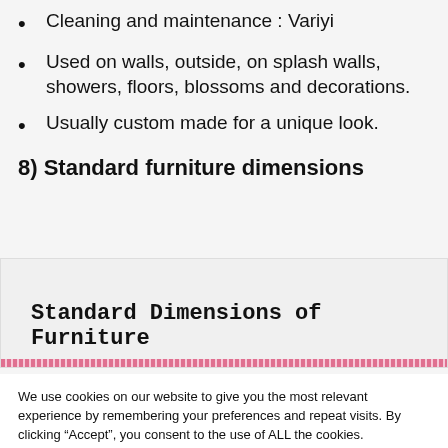Cleaning and maintenance : Variyi
Used on walls, outside, on splash walls, showers, floors, blossoms and decorations.
Usually custom made for a unique look.
8) Standard furniture dimensions
[Figure (screenshot): Screenshot showing 'Standard Dimensions of Furniture' heading with a decorative pink bar below it]
We use cookies on our website to give you the most relevant experience by remembering your preferences and repeat visits. By clicking “Accept”, you consent to the use of ALL the cookies.
Do not sell my personal information.